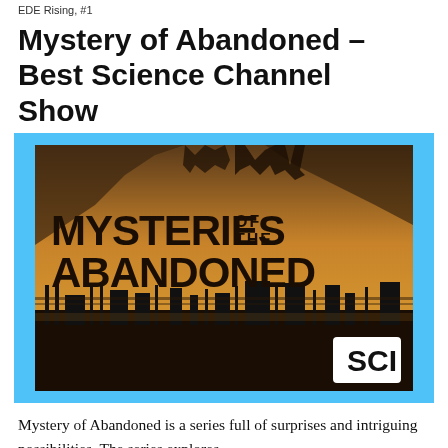EDE Rising, #1
Mystery of Abandoned – Best Science Channel Show
[Figure (photo): Promotional image for 'Mysteries of the Abandoned' TV show on the Science Channel (SCI). Dark, moody sepia-toned image showing industrial ruins in silhouette at bottom, rocky cliffs in background, with large bold text reading 'MYSTERIES OF THE ABANDONED' and the SCI network logo in the lower right corner. Image is framed with a bright blue border.]
Mystery of Abandoned is a series full of surprises and intriguing possibilities. The series explores